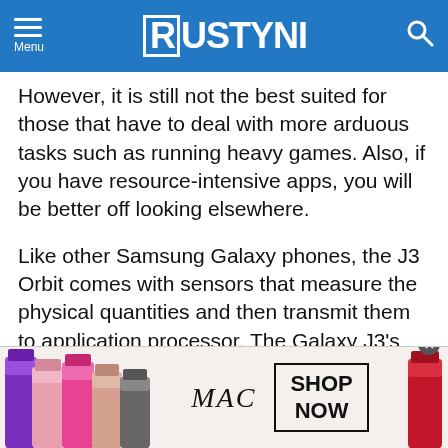RUSTYNI
However, it is still not the best suited for those that have to deal with more arduous tasks such as running heavy games. Also, if you have resource-intensive apps, you will be better off looking elsewhere.
Like other Samsung Galaxy phones, the J3 Orbit comes with sensors that measure the physical quantities and then transmit them to application processor. The Galaxy J3’s accelerometer is an internal electronic component which measures motion and tilt.
[Figure (photo): MAC cosmetics advertisement banner showing colorful lipsticks, MAC logo, and SHOP NOW button]